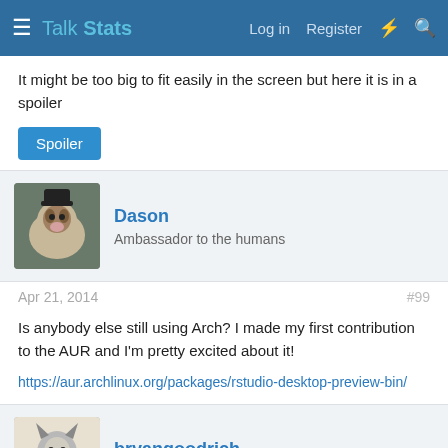Talk Stats — Log in   Register
It might be too big to fit easily in the screen but here it is in a spoiler
Spoiler
Dason
Ambassador to the humans
Apr 21, 2014    #99
Is anybody else still using Arch? I made my first contribution to the AUR and I'm pretty excited about it!

https://aur.archlinux.org/packages/rstudio-desktop-preview-bin/
bryangoodrich
Probably A Mammal